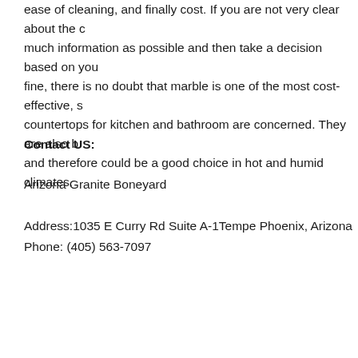ease of cleaning, and finally cost. If you are not very clear about the c much information as possible and then take a decision based on you fine, there is no doubt that marble is one of the most cost-effective, s countertops for kitchen and bathroom are concerned. They are also b and therefore could be a good choice in hot and humid climates.
Contact US:
Arizona Granite Boneyard
Address:1035 E Curry Rd Suite A-1Tempe Phoenix, Arizona
Phone: (405) 563-7097